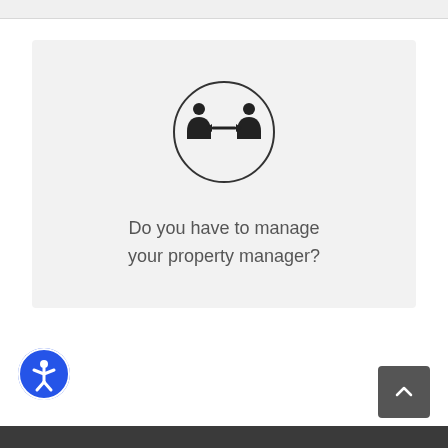[Figure (illustration): Card with two people icon in a circle and text asking 'Do you have to manage your property manager?']
Do you have to manage your property manager?
[Figure (illustration): Accessibility icon button - blue circle with person figure]
[Figure (illustration): Back to top button - dark grey square with upward chevron]